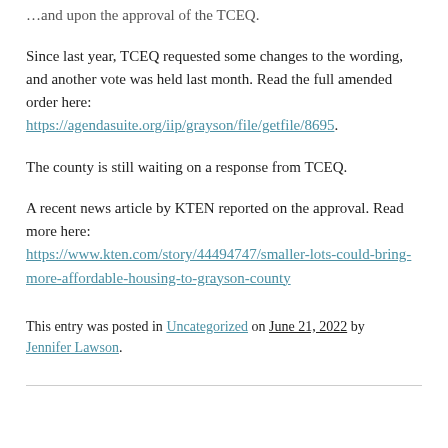…and upon the approval of the TCEQ.
Since last year, TCEQ requested some changes to the wording, and another vote was held last month. Read the full amended order here:
https://agendasuite.org/iip/grayson/file/getfile/8695.
The county is still waiting on a response from TCEQ.
A recent news article by KTEN reported on the approval. Read more here:
https://www.kten.com/story/44494747/smaller-lots-could-bring-more-affordable-housing-to-grayson-county
This entry was posted in Uncategorized on June 21, 2022 by Jennifer Lawson.